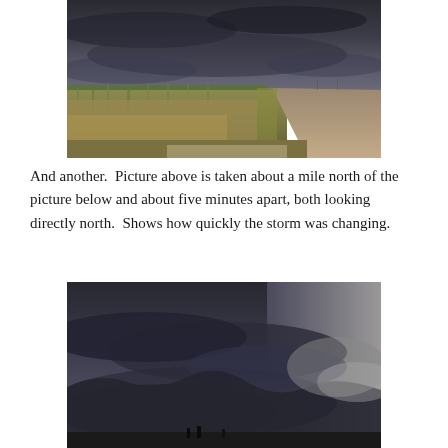[Figure (photo): A flat prairie landscape with tall golden grasses on the left and a dirt gravel road on the right, under a dramatic dark storm sky with heavy clouds rolling in.]
And another.  Picture above is taken about a mile north of the picture below and about five minutes apart, both looking directly north.  Shows how quickly the storm was changing.
[Figure (photo): A dramatic storm sky with large swirling dark grey clouds, a shelf cloud visible, and a hint of lighter sky to the right. Small trees or structures visible along the bottom horizon.]